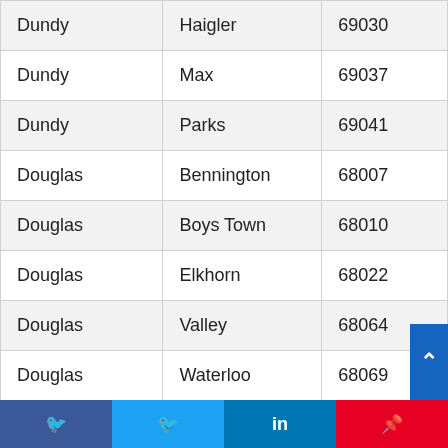| Dundy | Haigler | 69030 |
| Dundy | Max | 69037 |
| Dundy | Parks | 69041 |
| Douglas | Bennington | 68007 |
| Douglas | Boys Town | 68010 |
| Douglas | Elkhorn | 68022 |
| Douglas | Valley | 68064 |
| Douglas | Waterloo | 68069 |
| Douglas | Omaha | 68101 |
| Douglas | Omaha | 68102 |
| Douglas | Omaha | 68103 |